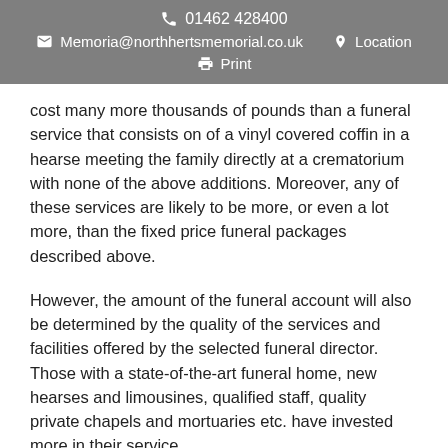📞 01462 428400
✉ Memoria@northhertsmemorial.co.uk   📍 Location
🖨 Print
cost many more thousands of pounds than a funeral service that consists on of a vinyl covered coffin in a hearse meeting the family directly at a crematorium with none of the above additions. Moreover, any of these services are likely to be more, or even a lot more, than the fixed price funeral packages described above.
However, the amount of the funeral account will also be determined by the quality of the services and facilities offered by the selected funeral director. Those with a state-of-the-art funeral home, new hearses and limousines, qualified staff, quality private chapels and mortuaries etc. have invested more in their service